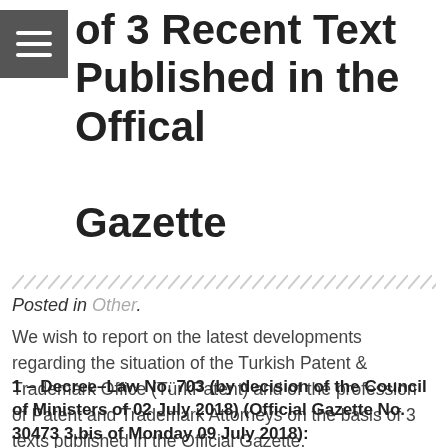of 3 Recent Text Published in the Offical Gazette
Posted in Other.
We wish to report on the latest developments regarding the situation of the Turkish Patent & Trademark Office (TürkPatent) and of the profession of Patent and Trademark Attorneys on the basis of 3 texts published in the Official Gazette.
1 – Decree–Law No. 703 (by decision of the Council of Ministers of 02 July 2018) (Official Gazette No. 30473 3.bis of Monday 09 July 2018):